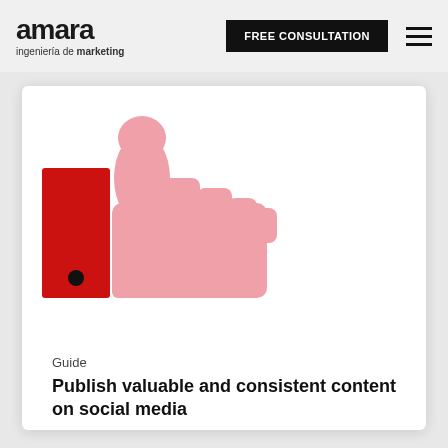amara ingeniería de marketing | FREE CONSULTATION
[Figure (illustration): A thumbs-up icon in pink/salmon color next to a red rectangle with a black dot, resembling a Facebook-style like button illustration]
Guide
Publish valuable and consistent content on social media